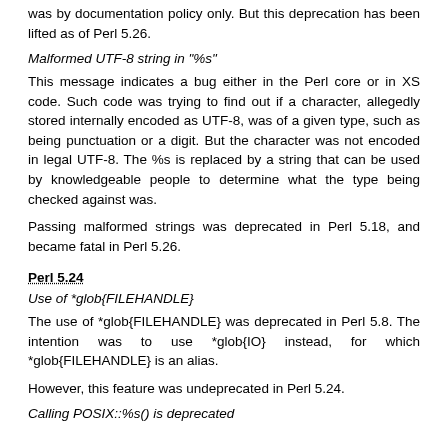was by documentation policy only. But this deprecation has been lifted as of Perl 5.26.
Malformed UTF-8 string in "%s"
This message indicates a bug either in the Perl core or in XS code. Such code was trying to find out if a character, allegedly stored internally encoded as UTF-8, was of a given type, such as being punctuation or a digit. But the character was not encoded in legal UTF-8. The %s is replaced by a string that can be used by knowledgeable people to determine what the type being checked against was.
Passing malformed strings was deprecated in Perl 5.18, and became fatal in Perl 5.26.
Perl 5.24
Use of *glob{FILEHANDLE}
The use of *glob{FILEHANDLE} was deprecated in Perl 5.8. The intention was to use *glob{IO} instead, for which *glob{FILEHANDLE} is an alias.
However, this feature was undeprecated in Perl 5.24.
Calling POSIX::%s() is deprecated